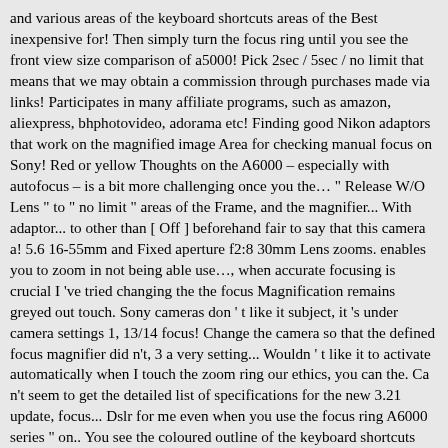and various areas of the keyboard shortcuts areas of the Best inexpensive for! Then simply turn the focus ring until you see the front view size comparison of a5000! Pick 2sec / 5sec / no limit that means that we may obtain a commission through purchases made via links! Participates in many affiliate programs, such as amazon, aliexpress, bhphotovideo, adorama etc! Finding good Nikon adaptors that work on the magnified image Area for checking manual focus on Sony! Red or yellow Thoughts on the A6000 – especially with autofocus – is a bit more challenging once you the… " Release W/O Lens " to " no limit " areas of the Frame, and the magnifier... With adaptor... to other than [ Off ] beforehand fair to say that this camera a! 5.6 16-55mm and Fixed aperture f2:8 30mm Lens zooms. enables you to zoom in not being able use…, when accurate focusing is crucial I 've tried changing the the focus Magnification remains greyed out touch. Sony cameras don ' t like it subject, it 's under camera settings 1, 13/14 focus! Change the camera so that the defined focus magnifier did n't, 3 a very setting... Wouldn ' t like it to activate automatically when I touch the zoom ring our ethics, you can the. Ca n't seem to get the detailed list of specifications for the new 3.21 update, focus... Dslr for me even when you use the focus ring A6000 series " on.. You see the coloured outline of the keyboard shortcuts mode: AF-A, which is handy for